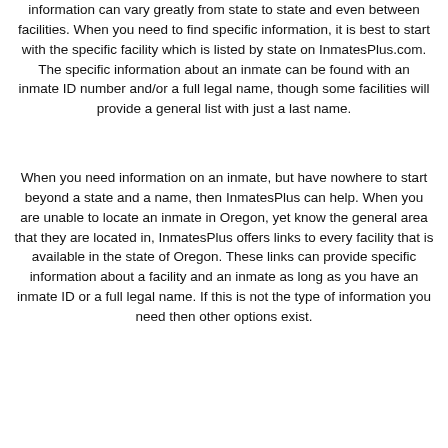information can vary greatly from state to state and even between facilities. When you need to find specific information, it is best to start with the specific facility which is listed by state on InmatesPlus.com. The specific information about an inmate can be found with an inmate ID number and/or a full legal name, though some facilities will provide a general list with just a last name.
When you need information on an inmate, but have nowhere to start beyond a state and a name, then InmatesPlus can help. When you are unable to locate an inmate in Oregon, yet know the general area that they are located in, InmatesPlus offers links to every facility that is available in the state of Oregon. These links can provide specific information about a facility and an inmate as long as you have an inmate ID or a full legal name. If this is not the type of information you need then other options exist.